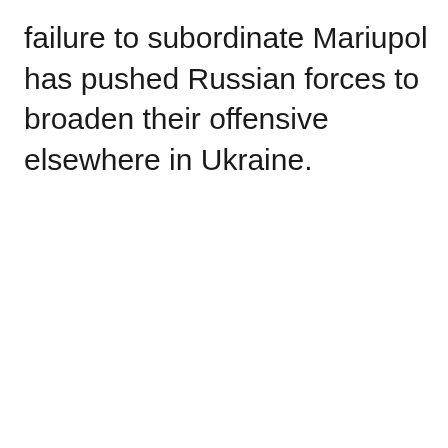failure to subordinate Mariupol has pushed Russian forces to broaden their offensive elsewhere in Ukraine.